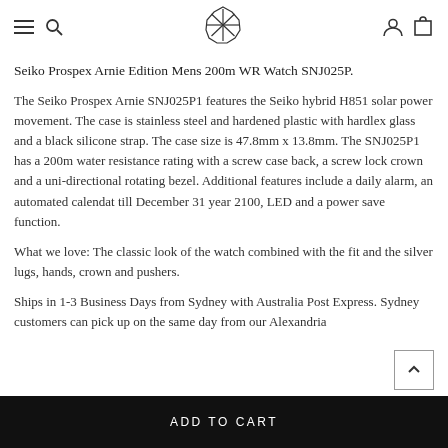Navigation bar with hamburger menu, search, logo, user and cart icons
Seiko Prospex Arnie Edition Mens 200m WR Watch SNJ025P.
The Seiko Prospex Arnie SNJ025P1 features the Seiko hybrid H851 solar power movement. The case is stainless steel and hardened plastic with hardlex glass and a black silicone strap. The case size is 47.8mm x 13.8mm. The SNJ025P1 has a 200m water resistance rating with a screw case back, a screw lock crown and a uni-directional rotating bezel. Additional features include a daily alarm, an automated calendat till December 31 year 2100, LED and a power save function.
What we love: The classic look of the watch combined with the fit and the silver lugs, hands, crown and pushers.
Ships in 1-3 Business Days from Sydney with Australia Post Express. Sydney customers can pick up on the same day from our Alexandria...
ADD TO CART